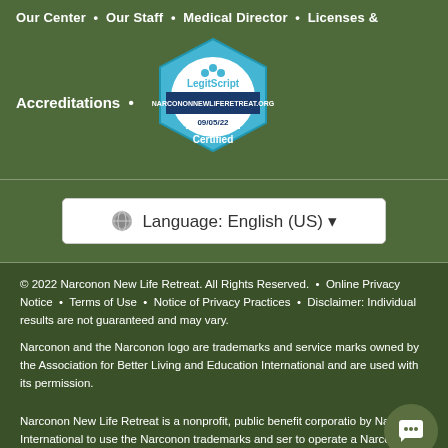Our Center  •  Our Staff  •  Medical Director  •  Licenses &
[Figure (logo): LegitScript certified badge for narcononnewliferetreat.org dated 09/05/22]
Accreditations  •
[Figure (other): Language selector button: globe icon followed by 'Language: English (US)' with dropdown arrow]
© 2022 Narconon New Life Retreat. All Rights Reserved.  •  Online Privacy Notice  •  Terms of Use  •  Notice of Privacy Practices  •  Disclaimer: Individual results are not guaranteed and may vary.
Narconon and the Narconon logo are trademarks and service marks owned by the Association for Better Living and Education International and are used with its permission.
Narconon New Life Retreat is a nonprofit, public benefit corporation by Narconon International to use the Narconon trademarks and ser to operate a Narconon drug rehabilitation and education program.